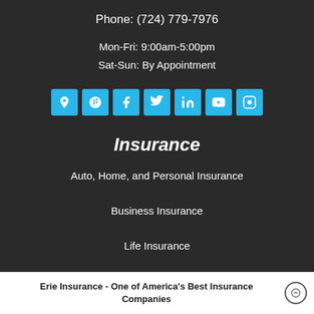Phone: (724) 779-7976
Mon-Fri: 9:00am-5:00pm
Sat-Sun: By Appointment
[Figure (infographic): Row of 7 social media icon buttons (location/maps, Yelp, Facebook, Twitter, LinkedIn, YouTube, Instagram) in cyan/blue square icons with white symbols]
Insurance
Auto, Home, and Personal Insurance
Business Insurance
Life Insurance
Erie Insurance - One of America's Best Insurance Companies